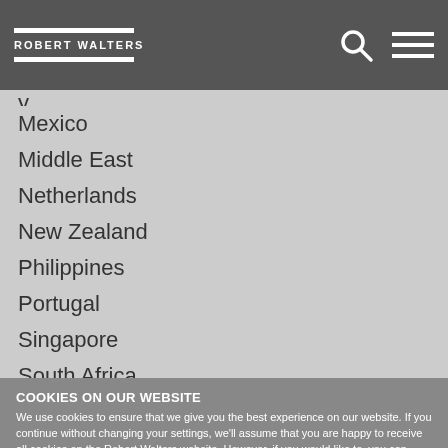ROBERT WALTERS
Mexico
Middle East
Netherlands
New Zealand
Philippines
Portugal
Singapore
South Africa
South Korea
Spain
COOKIES ON OUR WEBSITE
We use cookies to ensure that we give you the best experience on our website. If you continue without changing your settings, we'll assume that you are happy to receive all cookies on the Robert Walters website. However, if you would like to, you can change your cookie settings at any time. To find out more, please view our cookies policy.
Ok, I agree | No, give me more information